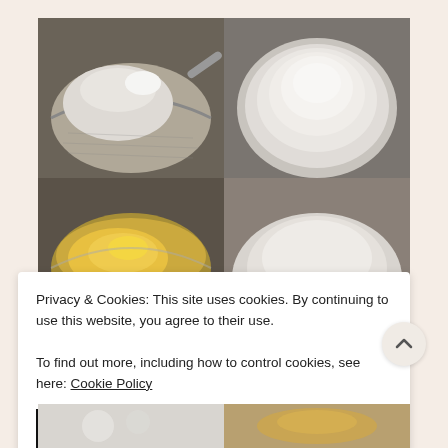[Figure (photo): Grid of cooking preparation photos: top-left shows flour and salt in a metal sieve/strainer; top-right shows sifted flour in a bowl viewed from above; bottom-left shows beaten eggs/butter in a glass bowl; bottom-right partially visible]
Privacy & Cookies: This site uses cookies. By continuing to use this website, you agree to their use.
To find out more, including how to control cookies, see here: Cookie Policy
CLOSE AND ACCEPT